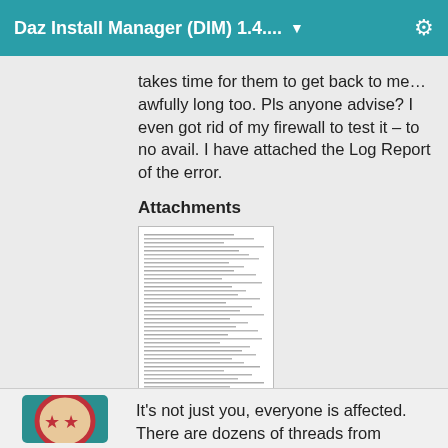Daz Install Manager (DIM) 1.4.... ▼
takes time for them to get back to me… awfully long too. Pls anyone advise? I even got rid of my firewall to test it - to no avail. I have attached the Log Report of the error.
Attachments
[Figure (screenshot): A log report document attachment showing lines of log text]
It's not just you, everyone is affected. There are dozens of threads from users…